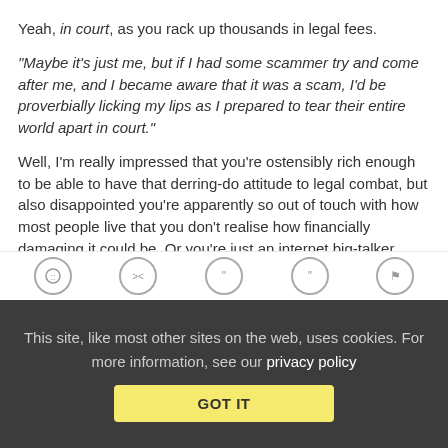Yeah, in court, as you rack up thousands in legal fees.
"Maybe it's just me, but if I had some scammer try and come after me, and I became aware that it was a scam, I'd be proverbially licking my lips as I prepared to tear their entire world apart in court."
Well, I'm really impressed that you're ostensibly rich enough to be able to have that derring-do attitude to legal combat, but also disappointed you're apparently so out of touch with how most people live that you don't realise how financially damaging it could be. Or you're just an internet big-talker.
Reply | View in chronology
This site, like most other sites on the web, uses cookies. For more information, see our privacy policy GOT IT